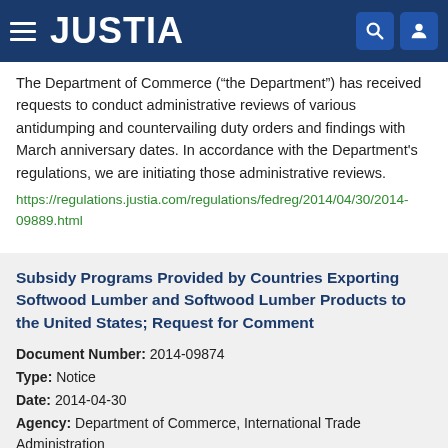JUSTIA
The Department of Commerce ("the Department") has received requests to conduct administrative reviews of various antidumping and countervailing duty orders and findings with March anniversary dates. In accordance with the Department's regulations, we are initiating those administrative reviews.
https://regulations.justia.com/regulations/fedreg/2014/04/30/2014-09889.html
Subsidy Programs Provided by Countries Exporting Softwood Lumber and Softwood Lumber Products to the United States; Request for Comment
Document Number: 2014-09874
Type: Notice
Date: 2014-04-30
Agency: Department of Commerce, International Trade Administration